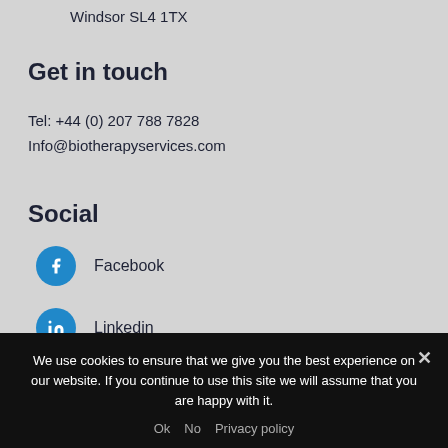Windsor SL4 1TX
Get in touch
Tel: +44 (0) 207 788 7828
Info@biotherapyservices.com
Social
Facebook
Linkedin
We use cookies to ensure that we give you the best experience on our website. If you continue to use this site we will assume that you are happy with it.
Ok   No   Privacy policy